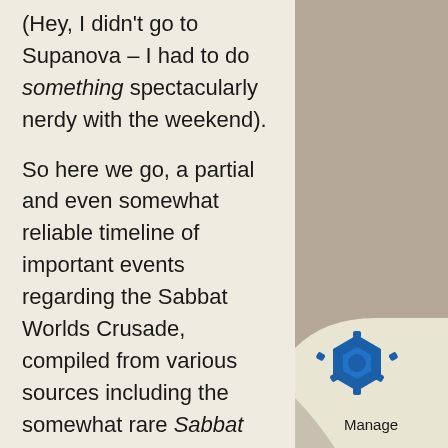(Hey, I didn't go to Supanova – I had to do something spectacularly nerdy with the weekend).

So here we go, a partial and even somewhat reliable timeline of important events regarding the Sabbat Worlds Crusade, compiled from various sources including the somewhat rare Sabbat Worlds Crusade background book (Yes. I own a copy. Read it and weep :))
The Original Crusade
[Figure (logo): Curled paper corner with Manage logo (blue hexagonal gear icon) and 'Manage' text in bottom right corner]